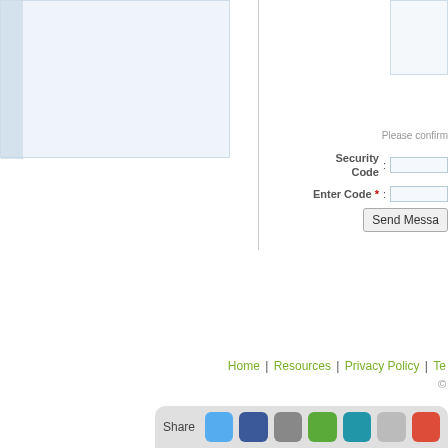[Figure (screenshot): Left panel: a light blue form panel with a darker blue left sidebar strip, partially visible on the left side of the page.]
[Figure (screenshot): Right top panel: a small light blue/white bordered box, partially visible at top right.]
Please confirm
Security Code :
Enter Code * :
Send Messa
Home | Resources | Privacy Policy | Te
©
Share